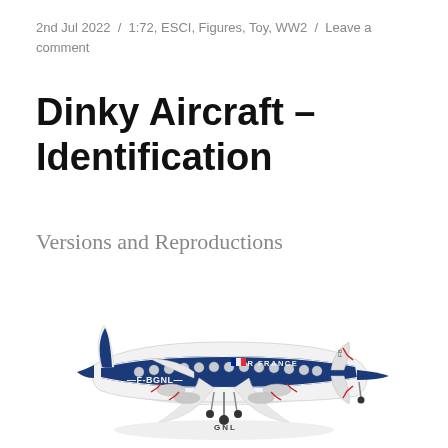2nd Jul 2022  /  1:72, ESCI, Figures, Toy, WW2  /  Leave a comment
Dinky Aircraft – Identification
Versions and Reproductions
[Figure (photo): A model aircraft — Air France Lockheed Constellation diecast toy, registration F-BGNL, white body with blue stripe, red landing gear, photographed from slightly above on white background.]